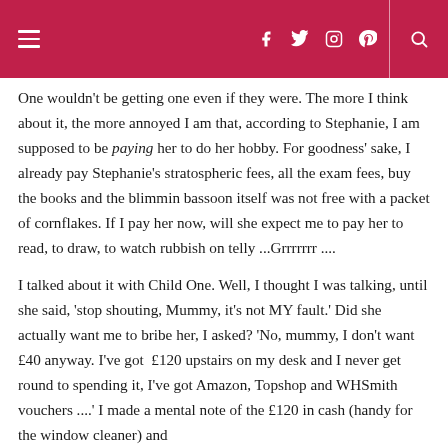Navigation header with hamburger menu, social icons (Facebook, Twitter, Instagram, Pinterest), and search icon
One wouldn't be getting one even if they were. The more I think about it, the more annoyed I am that, according to Stephanie, I am supposed to be paying her to do her hobby. For goodness' sake, I already pay Stephanie's stratospheric fees, all the exam fees, buy the books and the blimmin bassoon itself was not free with a packet of cornflakes. If I pay her now, will she expect me to pay her to read, to draw, to watch rubbish on telly ...Grrrrrrr ....
I talked about it with Child One. Well, I thought I was talking, until she said, 'stop shouting, Mummy, it's not MY fault.' Did she actually want me to bribe her, I asked? 'No, mummy, I don't want £40 anyway. I've got  £120 upstairs on my desk and I never get round to spending it, I've got Amazon, Topshop and WHSmith vouchers ....' I made a mental note of the £120 in cash (handy for the window cleaner) and